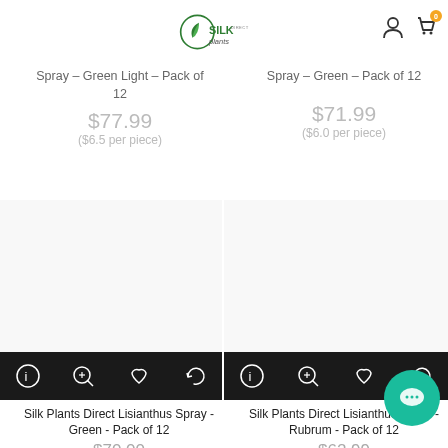Silk Plants Direct logo, user icon, cart icon
Spray - Green Light - Pack of 12
$77.99 ($6.5 per piece)
Spray - Green - Pack of 12
$71.99 ($6.0 per piece)
[Figure (other): Product image placeholder area for Silk Plants Direct Lisianthus Spray - Green - Pack of 12 with action icons bar (info, zoom, heart, rotate)]
[Figure (other): Product image placeholder area for Silk Plants Direct Lisianthus Spray - Rubrum - Pack of 12 with action icons bar (info, zoom, heart, rotate)]
Silk Plants Direct Lisianthus Spray - Green - Pack of 12
$70.00
Silk Plants Direct Lisianthus Spray - Rubrum - Pack of 12
$62.99